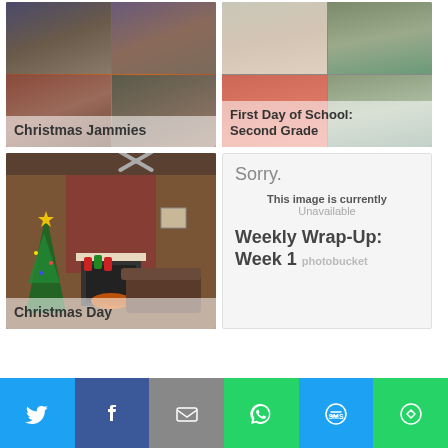[Figure (photo): Christmas Jammies photo collage showing family on couches in holiday setting]
Christmas Jammies
[Figure (photo): First Day of School: Second Grade photo collage with child and adult]
First Day of School: Second Grade
[Figure (photo): Christmas Day living room with fireplace, stockings, Christmas tree]
Christmas Day
[Figure (photo): Sorry. This image is currently Unavailable. Weekly Wrap-Up: Week 1 photobucket]
Sorry.
This image is currently
Unavailable
Weekly Wrap-Up: Week 1
* by shareaholic
[Figure (infographic): Social sharing bar with Twitter, Facebook, Email, WhatsApp, SMS, More buttons]